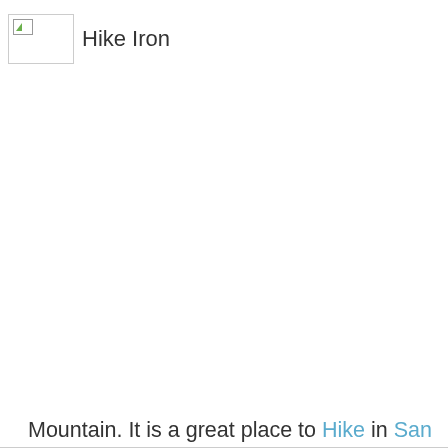[Figure (photo): Broken image placeholder with 'Hike Iron' text label to the right]
Mountain. It is a great place to Hike in San Diego. Enjoy panoramic 360 degree views of San Diego from the mountain summit which sits almost 2,700 feet above sea level. You will be able see El Capitan Reservoir from the top of this mountain as well as other San Diego landmarks. It's a spectacular view!